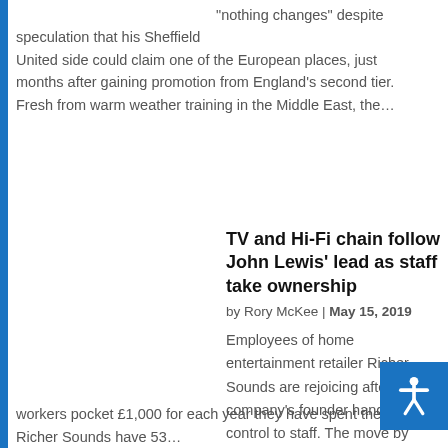“nothing changes” despite speculation that his Sheffield United side could claim one of the European places, just months after gaining promotion from England’s second tier. Fresh from warm weather training in the Middle East, the…
TV and Hi-Fi chain follow John Lewis’ lead as staff take ownership
by Rory McKee | May 15, 2019
Employees of home entertainment retailer Richer Sounds are rejoicing after the company’s founder handed over control to staff. The move by majority shareholder Julian Richer will workers pocket £1,000 for each year they have spent ther… Richer Sounds have 53…